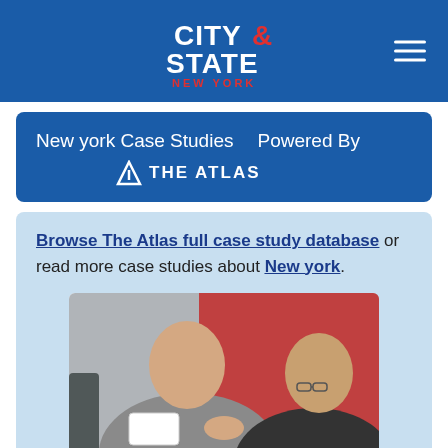[Figure (logo): City & State New York logo in white with red ampersand on blue navigation bar, with hamburger menu icon on the right]
New york Case Studies   Powered By  THE ATLAS
Browse The Atlas full case study database or read more case studies about New york.
[Figure (photo): Two older men in business casual attire examining a small white device, with a red wall in the background]
Natural gas alarm system enhances publ